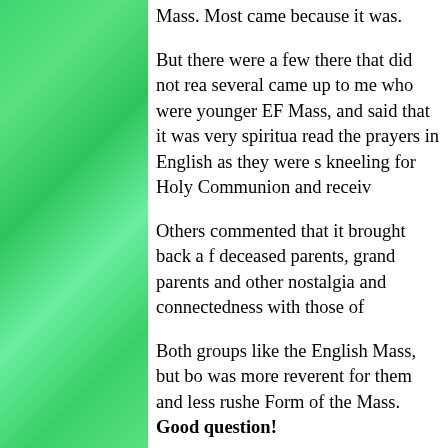Mass. Most came because it was.
But there were a few there that did not rea… several came up to me who were younger… EF Mass, and said that it was very spiritua… read the prayers in English as they were s… kneeling for Holy Communion and receiv…
Others commented that it brought back a f… deceased parents, grand parents and other… nostalgia and connectedness with those of…
Both groups like the English Mass, but bo… was more reverent for them and less rushe… Form of the Mass. Good question!